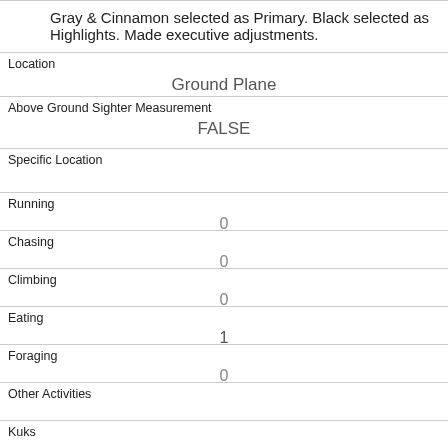Gray & Cinnamon selected as Primary. Black selected as Highlights. Made executive adjustments.
| Location | Ground Plane |
| Above Ground Sighter Measurement | FALSE |
| Specific Location |  |
| Running | 0 |
| Chasing | 0 |
| Climbing | 0 |
| Eating | 1 |
| Foraging | 0 |
| Other Activities |  |
| Kuks |  |